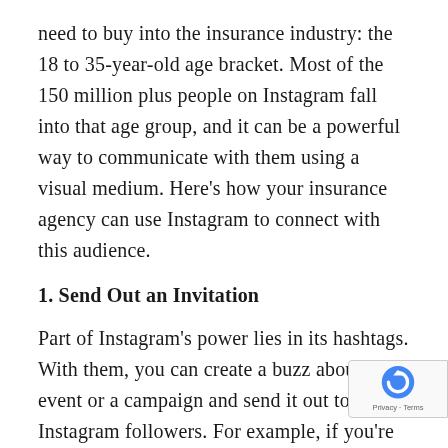need to buy into the insurance industry: the 18 to 35-year-old age bracket. Most of the 150 million plus people on Instagram fall into that age group, and it can be a powerful way to communicate with them using a visual medium. Here's how your insurance agency can use Instagram to connect with this audience.
1. Send Out an Invitation
Part of Instagram's power lies in its hashtags. With them, you can create a buzz about an event or a campaign and send it out to your Instagram followers. For example, if you're hosting a home safety workshop for new parents, take photos of dos and don'ts and add a hashtag about the workshop. Make sure that the images are informative and engaging so that people will share the image and tag. Be aware of other insurance, health, and safety-